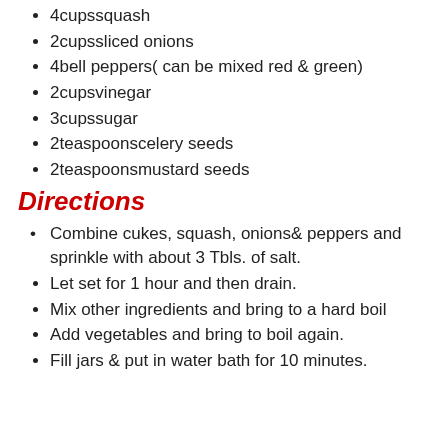4cupssquash
2cupssliced onions
4bell peppers( can be mixed red & green)
2cupsvinegar
3cupssugar
2teaspoonscelery seeds
2teaspoonsmustard seeds
Directions
Combine cukes, squash, onions& peppers and sprinkle with about 3 Tbls. of salt.
Let set for 1 hour and then drain.
Mix other ingredients and bring to a hard boil
Add vegetables and bring to boil again.
Fill jars & put in water bath for 10 minutes.